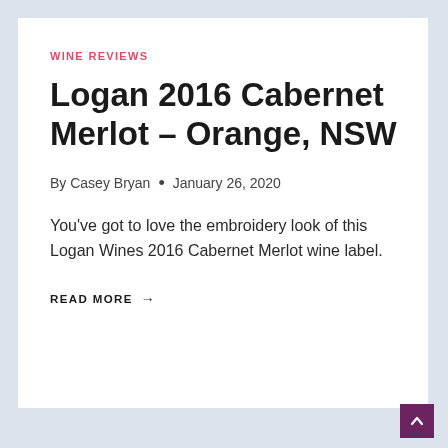WINE REVIEWS
Logan 2016 Cabernet Merlot – Orange, NSW
By Casey Bryan • January 26, 2020
You've got to love the embroidery look of this Logan Wines 2016 Cabernet Merlot wine label.
READ MORE →